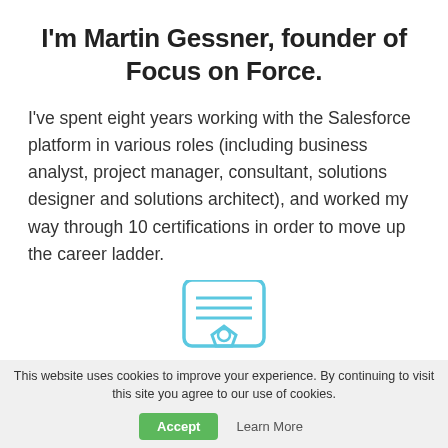I'm Martin Gessner, founder of Focus on Force.
I've spent eight years working with the Salesforce platform in various roles (including business analyst, project manager, consultant, solutions designer and solutions architect), and worked my way through 10 certifications in order to move up the career ladder.
[Figure (illustration): A certificate/document icon drawn in light blue outline style, partially visible at the bottom of the content area.]
This website uses cookies to improve your experience. By continuing to visit this site you agree to our use of cookies.